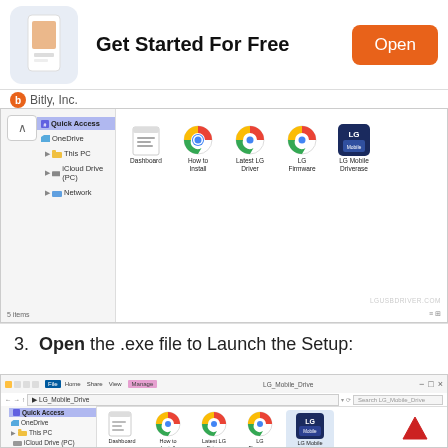[Figure (screenshot): App store ad banner for Bitly with 'Get Started For Free' title and orange 'Open' button]
Bitly, Inc.
[Figure (screenshot): Windows File Explorer showing downloaded files: Dashboard, How to Install, Latest LG Driver, LG Firmware, LG Mobile Driverase. Sidebar shows Quick Access, OneDrive, This PC, iCloud Drive (PC), Network. Status bar shows 5 items.]
3.  Open the .exe file to Launch the Setup:
[Figure (screenshot): Windows File Explorer in LG_Mobile_Drive folder showing the same files with LG Mobile Driverase icon highlighted and a red arrow pointing to it.]